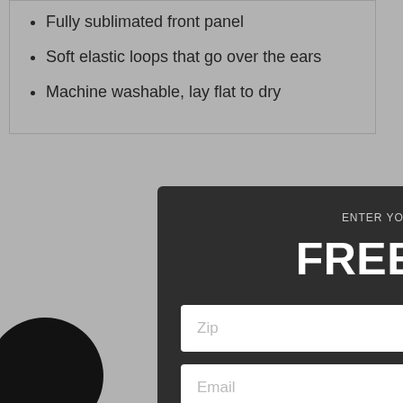Fully sublimated front panel
Soft elastic loops that go over the ears
Machine washable, lay flat to dry
Re
[Figure (screenshot): Modal popup with dark background showing free shipping verification form with zip code and email fields and a Verify Free Shipping button]
ENTER YOUR ZIP CODE & EMAIL TO VERIFY
FREE SHIPPING
Zip
Email
Verify Free Shipping